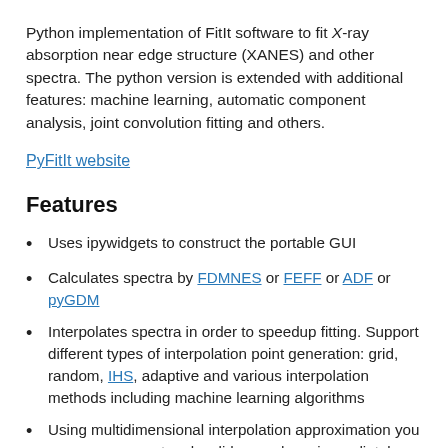Python implementation of FitIt software to fit X-ray absorption near edge structure (XANES) and other spectra. The python version is extended with additional features: machine learning, automatic component analysis, joint convolution fitting and others.
PyFitIt website
Features
Uses ipywidgets to construct the portable GUI
Calculates spectra by FDMNES or FEFF or ADF or pyGDM
Interpolates spectra in order to speedup fitting. Support different types of interpolation point generation: grid, random, IHS, adaptive and various interpolation methods including machine learning algorithms
Using multidimensional interpolation approximation you can vary parameters by sliders and see immediately theoretical